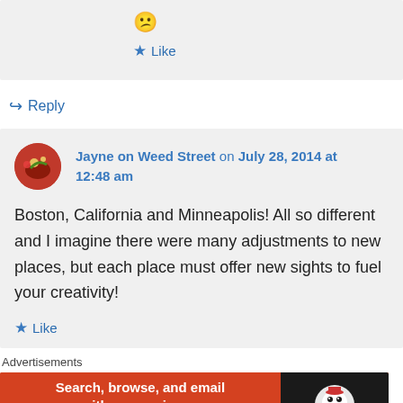[Figure (other): Emoji confused/annoyed face 😕]
★ Like
↪ Reply
Jayne on Weed Street on July 28, 2014 at 12:48 am
Boston, California and Minneapolis! All so different and I imagine there were many adjustments to new places, but each place must offer new sights to fuel your creativity!
★ Like
Advertisements
[Figure (other): DuckDuckGo advertisement banner: Search, browse, and email with more privacy. All in One Free App.]